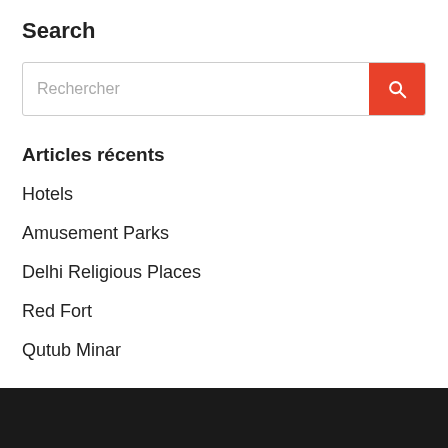Search
[Figure (other): Search input field with placeholder text 'Rechercher' and an orange search button with a magnifying glass icon]
Articles récents
Hotels
Amusement Parks
Delhi Religious Places
Red Fort
Qutub Minar